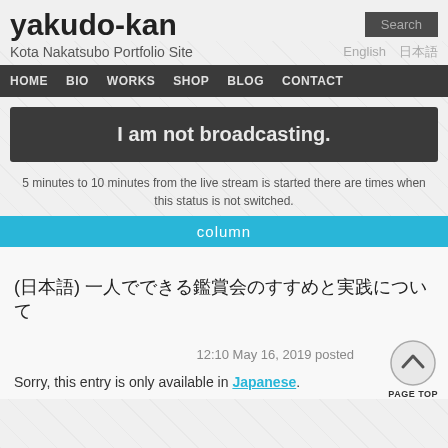yakudo-kan
Kota Nakatsubo Portfolio Site
HOME  BIO  WORKS  SHOP  BLOG  CONTACT
I am not broadcasting.
5 minutes to 10 minutes from the live stream is started there are times when this status is not switched.
column
(日本語) 一人でできる鑑賞会のすすめと実践について
12:10 May 16, 2019 posted
Sorry, this entry is only available in Japanese.